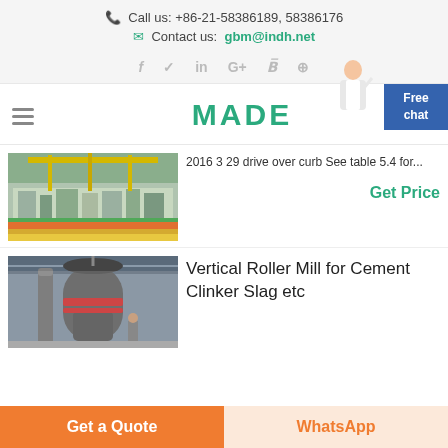Call us: +86-21-58386189, 58386176
Contact us: gbm@indh.net
[Figure (other): Social media icons: Facebook, Twitter, LinkedIn, Google+, Behance, Dribbble]
[Figure (logo): MADE logo in green with hamburger menu icon]
[Figure (photo): Industrial machinery/equipment facility interior]
2016 3 29 drive over curb See table 5.4 for...
Get Price
[Figure (photo): Vertical roller mill large industrial equipment in factory]
Vertical Roller Mill for Cement Clinker Slag etc
Get a Quote
WhatsApp